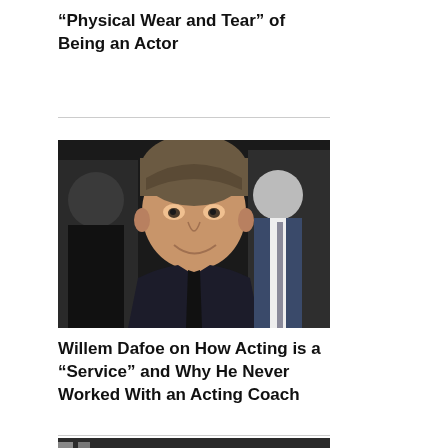“Physical Wear and Tear” of Being an Actor
[Figure (photo): Photo of Willem Dafoe at an event, wearing a dark suit, smiling slightly, with other people in the background]
Willem Dafoe on How Acting is a “Service” and Why He Never Worked With an Acting Coach
[Figure (photo): Partial photo of a person in an indoor setting with ornate background]